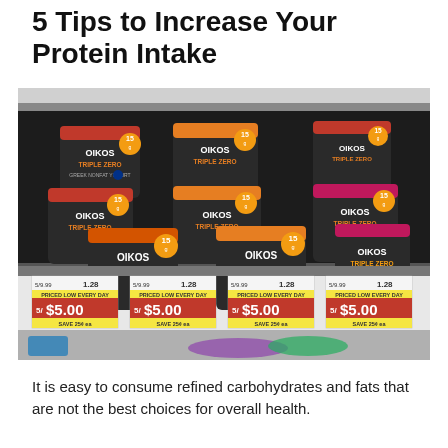5 Tips to Increase Your Protein Intake
[Figure (photo): Grocery store shelf stacked with Oikos Triple Zero Greek yogurt containers in various flavors, with price tags showing 5/$5.00 sale price.]
It is easy to consume refined carbohydrates and fats that are not the best choices for overall health.